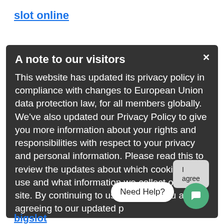slot online
A note to our visitors
This website has updated its privacy policy in compliance with changes to European Union data protection law, for all members globally. We've also updated our Privacy Policy to give you more information about your rights and responsibilities with respect to your privacy and personal information. Please read this to review the updates about which cookies we use and what information we collect on our site. By continuing to use this site, you are agreeing to our updated p
[Figure (screenshot): I agree button - grey rounded rectangle with text 'I agree']
[Figure (screenshot): Need Help? chat bubble with green chat button]
bigslot